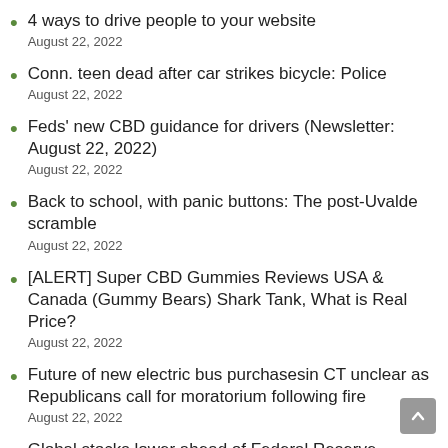4 ways to drive people to your website
August 22, 2022
Conn. teen dead after car strikes bicycle: Police
August 22, 2022
Feds’ new CBD guidance for drivers (Newsletter: August 22, 2022)
August 22, 2022
Back to school, with panic buttons: The post-Uvalde scramble
August 22, 2022
[ALERT] Super CBD Gummies Reviews USA & Canada (Gummy Bears) Shark Tank, What is Real Price?
August 22, 2022
Future of new electric bus purchasesin CT unclear as Republicans call for moratorium following fire
August 22, 2022
Global stocks lower ahead of Federal Reserve meeting
August 22, 2022